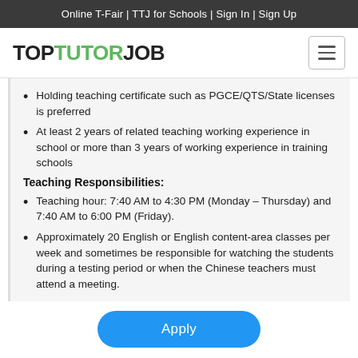Online T-Fair | TTJ for Schools | Sign In | Sign Up
TOP TUTOR JOB
Holding teaching certificate such as PGCE/QTS/State licenses is preferred
At least 2 years of related teaching working experience in school or more than 3 years of working experience in training schools
Teaching Responsibilities:
Teaching hour: 7:40 AM to 4:30 PM (Monday – Thursday) and 7:40 AM to 6:00 PM (Friday).
Approximately 20 English or English content-area classes per week and sometimes be responsible for watching the students during a testing period or when the Chinese teachers must attend a meeting.
Apply